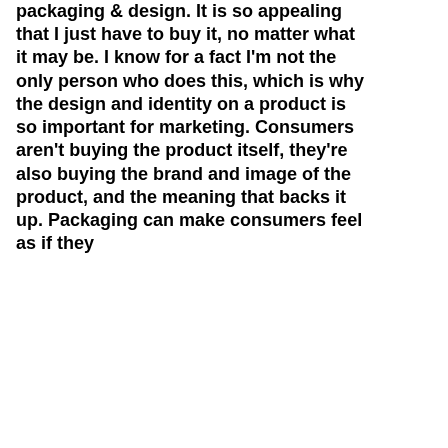packaging & design. It is so appealing that I just have to buy it, no matter what it may be. I know for a fact I'm not the only person who does this, which is why the design and identity on a product is so important for marketing. Consumers aren't buying the product itself, they're also buying the brand and image of the product, and the meaning that backs it up. Packaging can make consumers feel as if they
6 views  0 comments  3 likes
[Figure (logo): Black footer banner with white serif text 'Moyer Design Co. | Philadelphia, PA' and three white social media icon circles (LinkedIn, Facebook, Instagram)]